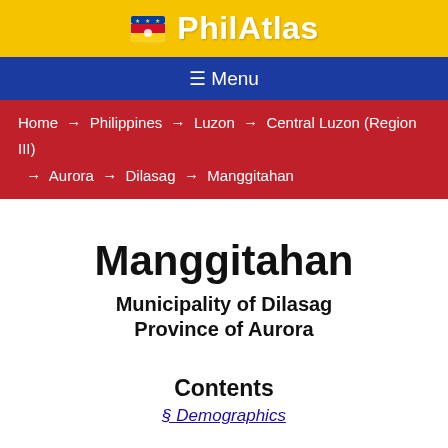PhilAtlas
≡ Menu
Home → Philippines → Luzon → Central Luzon (Region III) → Aurora → Dilasag → Manggitahan
Manggitahan
Municipality of Dilasag
Province of Aurora
Contents
§ Demographics